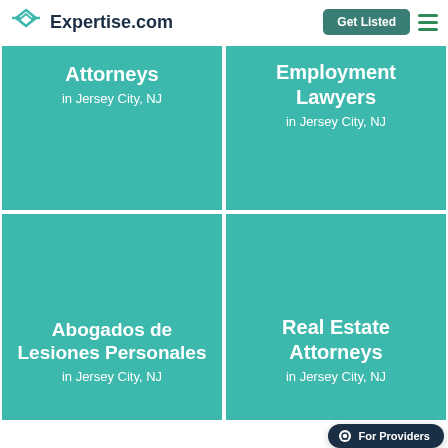Expertise.com
[Figure (screenshot): Expertise.com website navigation header with logo, Get Listed button, and hamburger menu]
Attorneys in Jersey City, NJ
Employment Lawyers in Jersey City, NJ
Abogados de Lesiones Personales in Jersey City, NJ
Real Estate Attorneys in Jersey City, NJ
For Providers
Search for Bankruptcy Attorneys near you